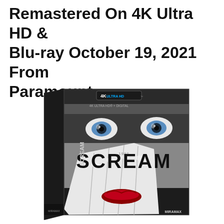Remastered On 4K Ultra HD & Blu-ray October 19, 2021 From Paramount
[Figure (photo): Scream movie 4K Ultra HD + Blu-ray box art showing a close-up face with blue eyes and red lips covered by a gloved hand, with SCREAM title text and 4K Ultra HD logo and MIRAMAX branding]